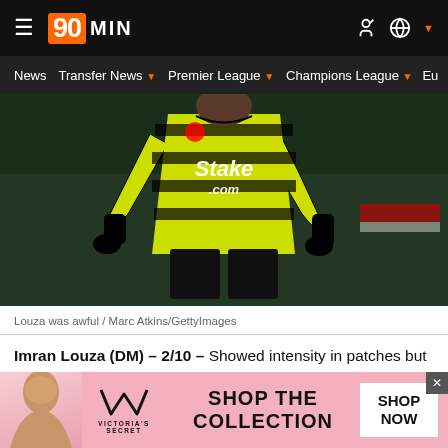90MIN
News  Transfer News  Premier League  Champions League  Eu
[Figure (photo): Watford player Imran Louza in yellow Stake.com jersey during a night match]
Louza was awful / Marc Atkins/GettyImages
Imran Louza (DM) - 2/10 - Showed intensity in patches but not enough to stop City walking right by him whenever
[Figure (other): Victoria's Secret advertisement banner: SHOP THE COLLECTION / SHOP NOW]